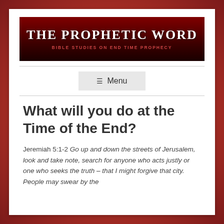[Figure (logo): The Prophetic Word banner with dark red gradient background, white bold title text 'THE PROPHETIC WORD' and red subtitle 'BIBLE STUDIES ON END TIME PROPHECY']
What will you do at the Time of the End?
Jeremiah 5:1-2 Go up and down the streets of Jerusalem, look and take note, search for anyone who acts justly or one who seeks the truth – that I might forgive that city. People may swear by the